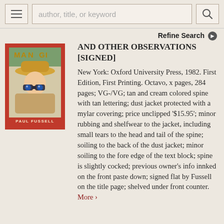author, title, or keyword
Refine Search
[Figure (photo): Book cover of a Paul Fussell title, showing a child with binoculars and a wide-brimmed hat, red spine, labeled PAUL FUSSELL at bottom]
AND OTHER OBSERVATIONS [SIGNED]
New York: Oxford University Press, 1982. First Edition, First Printing. Octavo, x pages, 284 pages; VG-/VG; tan and cream colored spine with tan lettering; dust jacket protected with a mylar covering; price unclipped '$15.95'; minor rubbing and shelfwear to the jacket, including small tears to the head and tail of the spine; soiling to the back of the dust jacket; minor soiling to the fore edge of the text block; spine is slightly cocked; previous owner's info innked on the front paste down; signed flat by Fussell on the title page; shelved under front counter. More >